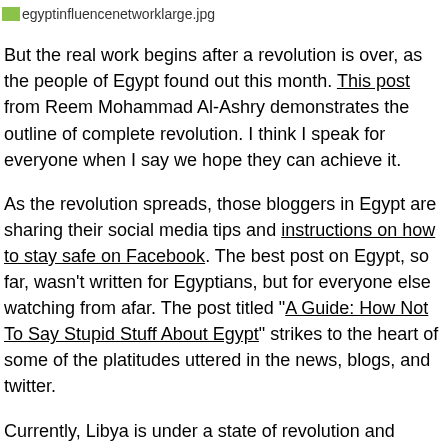[Figure (other): Broken image placeholder labeled 'egyptinfluencenetworklarge.jpg']
But the real work begins after a revolution is over, as the people of Egypt found out this month. This post from Reem Mohammad Al-Ashry demonstrates the outline of complete revolution. I think I speak for everyone when I say we hope they can achieve it.
As the revolution spreads, those bloggers in Egypt are sharing their social media tips and instructions on how to stay safe on Facebook. The best post on Egypt, so far, wasn't written for Egyptians, but for everyone else watching from afar. The post titled "A Guide: How Not To Say Stupid Stuff About Egypt" strikes to the heart of some of the platitudes uttered in the news, blogs, and twitter.
Currently, Libya is under a state of revolution and